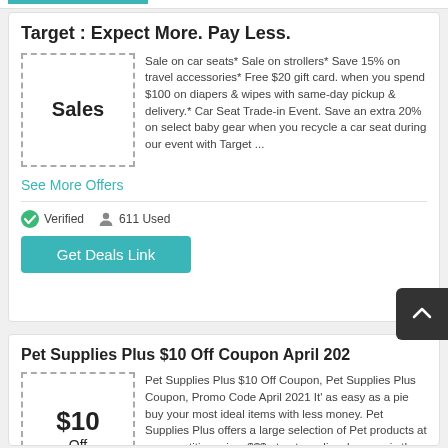Target : Expect More. Pay Less.
[Figure (other): Sales placeholder box with dashed border and bold text 'Sales']
Sale on car seats* Sale on strollers* Save 15% on travel accessories* Free $20 gift card. when you spend $100 on diapers & wipes with same-day pickup & delivery.* Car Seat Trade-in Event. Save an extra 20% on select baby gear when you recycle a car seat during our event with Target ...
See More Offers
✓ Verified   611 Used
Get Deals Link
Pet Supplies Plus $10 Off Coupon April 2021
[Figure (other): Discount placeholder box showing '$10 Off' in a dashed border]
Pet Supplies Plus $10 Off Coupon, Pet Supplies Plus Coupon, Promo Code April 2021 It' as easy as a pie buy your most ideal items with less money. Pet Supplies Plus offers a large selection of Pet products at a competitive price. $$$ at petsuppliesplus.com is the best choice for you.